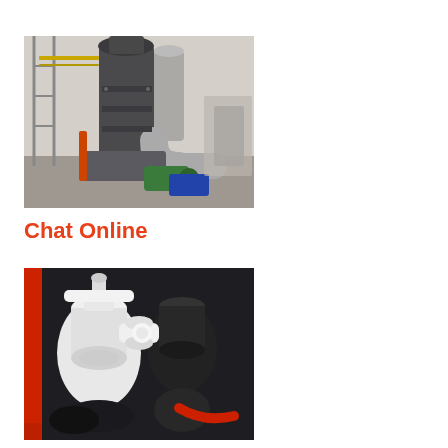[Figure (photo): Industrial grinding mill machine inside a factory, showing a large vertical roller mill with metalwork, ducting pipes, and auxiliary equipment including motors and hydraulic units on the floor]
Chat Online
[Figure (photo): Close-up view of internal components of a grinding mill, showing white cylindrical grinding rollers or pressure cylinders with black rubber elements and mechanical assemblies inside the mill housing]